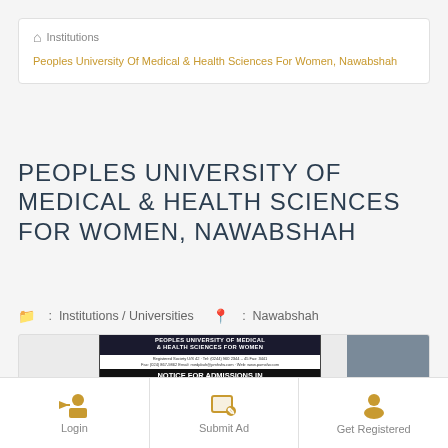Institutions
Peoples University Of Medical & Health Sciences For Women, Nawabshah
PEOPLES UNIVERSITY OF MEDICAL & HEALTH SCIENCES FOR WOMEN, NAWABSHAH
Institutions / Universities  :  Nawabshah
[Figure (photo): Advertisement notice for Peoples University of Medical & Health Sciences for Women showing admission notice for postgraduate courses for academic session September 2019]
Login  Submit Ad  Get Registered